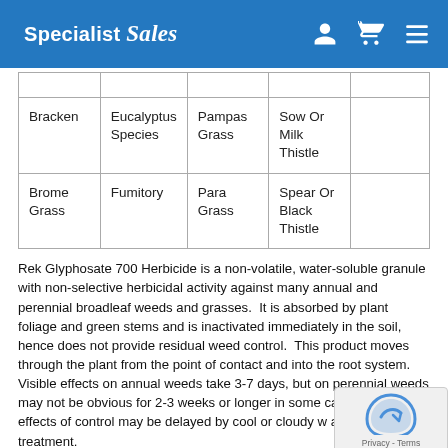Specialist Sales
|  |  |  |  |  |
| Bracken | Eucalyptus Species | Pampas Grass | Sow Or Milk Thistle |  |
| Brome Grass | Fumitory | Para Grass | Spear Or Black Thistle |  |
Rek Glyphosate 700 Herbicide is a non-volatile, water-soluble granule with non-selective herbicidal activity against many annual and perennial broadleaf weeds and grasses.  It is absorbed by plant foliage and green stems and is inactivated immediately in the soil, hence does not provide residual weed control.  This product moves through the plant from the point of contact and into the root system. Visible effects on annual weeds take 3-7 days, but on perennial weeds may not be obvious for 2-3 weeks or longer in some cases. Visible effects of control may be delayed by cool or cloudy w at and following treatment.
Pack Sizes: 15kg.